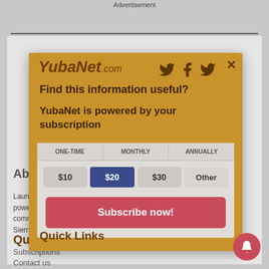Advertisement
YubaNet.com
Find this information useful?
YubaNet is powered by your subscription
About Us
Launched in 1999 (in the era of dial-up!) to put the then-revolutionary power of the Internet into the hands of our foothill and mountain communities, YubaNet.com delivers daily news to the Sierra, from the Sierra. Read more...
| ONE-TIME | MONTHLY | ANNUALLY |
| --- | --- | --- |
| $10 | $20 | $30 | Other |
Subscribe now!
Quick Links
Subscriptions
Contact us